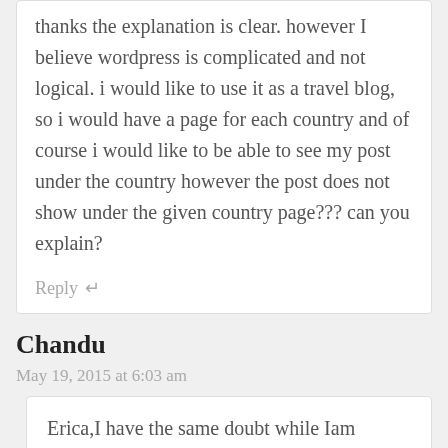thanks the explanation is clear. however I believe wordpress is complicated and not logical. i would like to use it as a travel blog, so i would have a page for each country and of course i would like to be able to see my post under the country however the post does not show under the given country page??? can you explain?
Reply ↵
Chandu
May 19, 2015 at 6:03 am
Erica,I have the same doubt while Iam building a travel website can you please